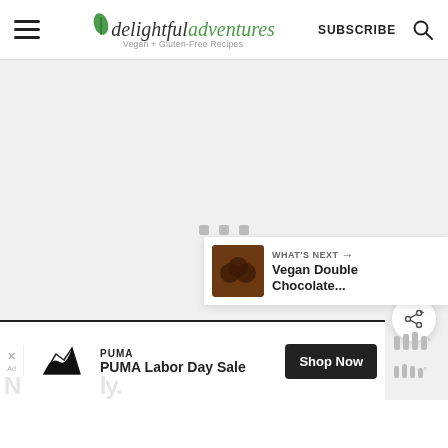delightful adventures — Vegan + Gluten-Free Recipes | SUBSCRIBE
[Figure (screenshot): Main content area with loading indicator (three small grey squares) in the center, on a light grey background]
[Figure (other): Green circular heart/save button (floating action button)]
[Figure (other): White circular share button with share icon (floating action button)]
[Figure (other): What's Next panel showing a thumbnail of chocolate cookies and text 'Vegan Double Chocolate...']
[Figure (other): Mediavine logo/branding in lower right]
[Figure (other): Advertisement bar at bottom: PUMA Labor Day Sale with Shop Now button and Puma logo]